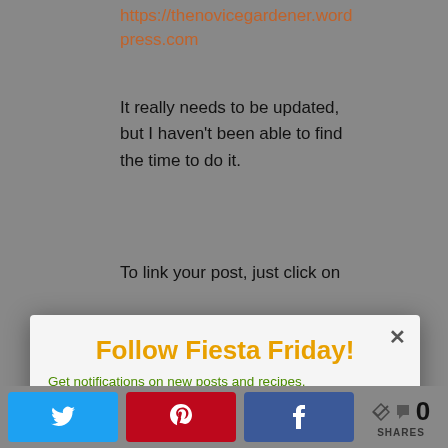https://thenovicegardener.wordpress.com
It really needs to be updated, but I haven't been able to find the time to do it.
To link your post, just click on
Follow Fiesta Friday!
Get notifications on new posts and recipes.
Enter email address
Follow Now
other questions. Thanks for your interest!
Reply
0 SHARES